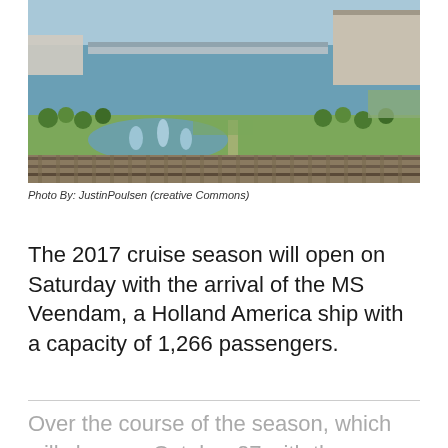[Figure (photo): Aerial view of a harbor/port area with fountains in a reflecting pool, green lawns, railway tracks in the foreground, a long pier extending into the water, industrial buildings on the right, and blue sky with water in the background.]
Photo By: JustinPoulsen (creative Commons)
The 2017 cruise season will open on Saturday with the arrival of the MS Veendam, a Holland America ship with a capacity of 1,266 passengers.
Over the course of the season, which will close on October 27 with the departure of the MS